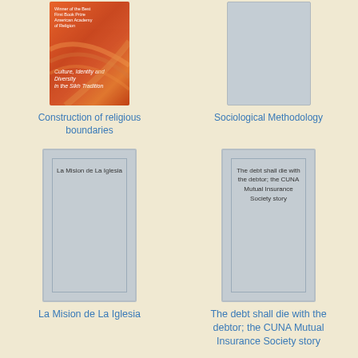[Figure (illustration): Book cover for 'Construction of religious boundaries' featuring orange/red abstract design for Sikh Traditions]
Construction of religious boundaries
[Figure (illustration): Gray placeholder book cover for 'Sociological Methodology']
Sociological Methodology
[Figure (illustration): Gray placeholder book cover with inner border and text 'La Mision de La Iglesia']
La Mision de La Iglesia
[Figure (illustration): Gray placeholder book cover with inner border and text 'The debt shall die with the debtor; the CUNA Mutual Insurance Society story']
The debt shall die with the debtor; the CUNA Mutual Insurance Society story